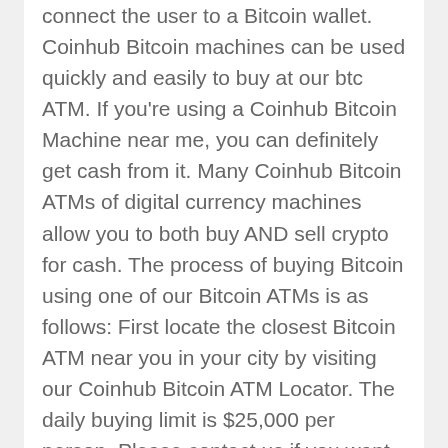connect the user to a Bitcoin wallet. Coinhub Bitcoin machines can be used quickly and easily to buy at our btc ATM. If you're using a Coinhub Bitcoin Machine near me, you can definitely get cash from it. Many Coinhub Bitcoin ATMs of digital currency machines allow you to both buy AND sell crypto for cash. The process of buying Bitcoin using one of our Bitcoin ATMs is as follows: First locate the closest Bitcoin ATM near you in your city by visiting our Coinhub Bitcoin ATM Locator. The daily buying limit is $25,000 per person. Please contact us if you want to buy with more money. Coinhub Bitcoin ATMs allow you to purchase bitcoin with cash and receive it instantly shortly after purchase at our Bitcoin ATM. Coinhub offers the easiest way to buy Bitcoin locally or online. We have Bitcoin Machines in all major cities across the country! Upon purchase, Bitcoin is instantly sent to your wallet. For purchases over $2,000.00, all you